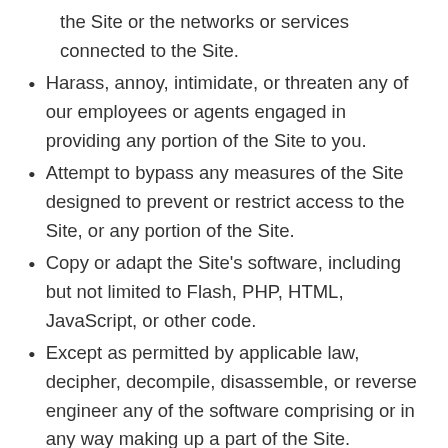the Site or the networks or services connected to the Site.
Harass, annoy, intimidate, or threaten any of our employees or agents engaged in providing any portion of the Site to you.
Attempt to bypass any measures of the Site designed to prevent or restrict access to the Site, or any portion of the Site.
Copy or adapt the Site's software, including but not limited to Flash, PHP, HTML, JavaScript, or other code.
Except as permitted by applicable law, decipher, decompile, disassemble, or reverse engineer any of the software comprising or in any way making up a part of the Site.
Except as may be the result of standard search engine or Internet browser usage, use, launch, develop, or distribute any automated system, including without limitation, any spider, robot, cheat